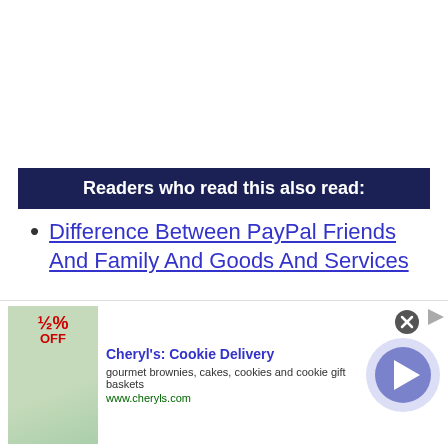Readers who read this also read:
Difference Between PayPal Friends And Family And Goods And Services
Difference Between Rural and Urban and Suburban
[Figure (other): Circular play button with pink border and magenta triangle]
[Figure (other): Advertisement banner: Cheryl's Cookie Delivery - gourmet brownies, cakes, cookies and cookie gift baskets - www.cheryls.com]